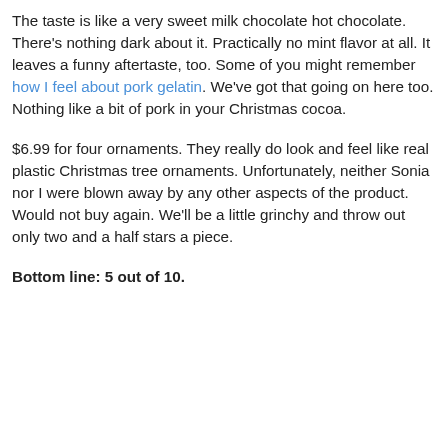The taste is like a very sweet milk chocolate hot chocolate. There's nothing dark about it. Practically no mint flavor at all. It leaves a funny aftertaste, too. Some of you might remember how I feel about pork gelatin. We've got that going on here too. Nothing like a bit of pork in your Christmas cocoa.
$6.99 for four ornaments. They really do look and feel like real plastic Christmas tree ornaments. Unfortunately, neither Sonia nor I were blown away by any other aspects of the product. Would not buy again. We'll be a little grinchy and throw out only two and a half stars a piece.
Bottom line: 5 out of 10.